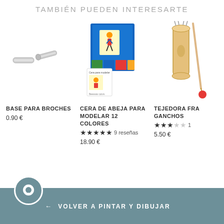TAMBIÉN PUEDEN INTERESARTE
[Figure (photo): Safety pins / clasp bases product image]
BASE PARA BROCHES
0.90 €
[Figure (photo): Cera de abeja para modelar 12 colores - box with coloured wax blocks]
CERA DE ABEJA PARA MODELAR 12 COLORES
★★★★★ 9 reseñas
18.90 €
[Figure (photo): Tejedora French knitting spool with hooks - partially visible]
TEJEDORA FRA... GANCHOS
★★★☆☆ 1...
5.50 €
← VOLVER A PINTAR Y DIBUJAR